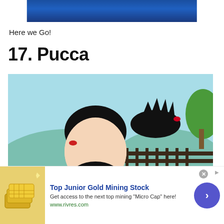[Figure (other): Top banner image with dark blue background, partially visible]
Here we Go!
17. Pucca
[Figure (illustration): Animated cartoon still from Pucca showing two cartoon characters — Pucca (girl with black bun hair) kissing Garu (boy with large round eyes), set against a teal/light blue background with orange-brown walls and green tree]
[Figure (other): Advertisement banner: Top Junior Gold Mining Stock. Get access to the next top mining 'Micro Cap' here! www.rivres.com. Shows gold bars image on left, blue circular arrow button on right.]